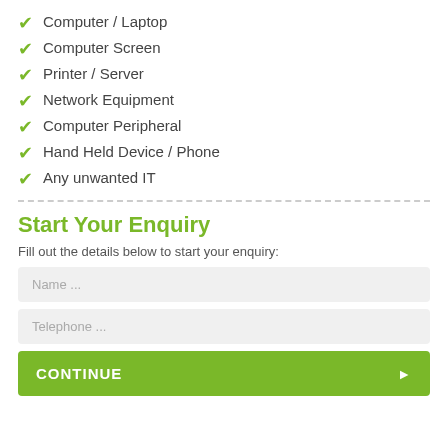Computer / Laptop
Computer Screen
Printer / Server
Network Equipment
Computer Peripheral
Hand Held Device / Phone
Any unwanted IT
Start Your Enquiry
Fill out the details below to start your enquiry:
Name ...
Telephone ...
CONTINUE